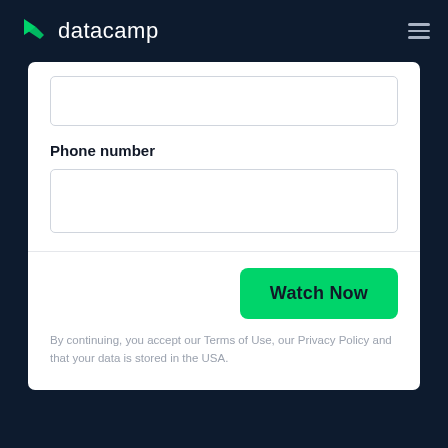datacamp
[Figure (logo): DataCamp logo with green arrow icon and white 'datacamp' wordmark on dark navy background]
Phone number
Watch Now
By continuing, you accept our Terms of Use, our Privacy Policy and that your data is stored in the USA.